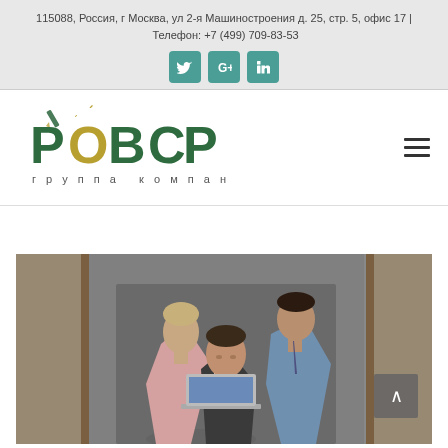115088, Россия, г Москва, ул 2-я Машиностроения д. 25, стр. 5, офис 17 | Телефон: +7 (499) 709-83-53
[Figure (logo): РОВЕР группа компаний logo with green Cyrillic letters and tagline]
[Figure (photo): Three businessmen in suits looking at a laptop computer together]